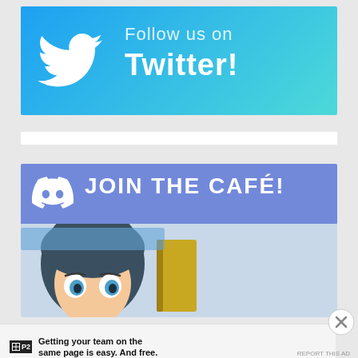[Figure (illustration): Twitter promotional banner with light blue gradient background, Twitter bird logo on left, text 'Follow us on Twitter!' on right in white]
[Figure (illustration): Discord promotional banner with purple header containing Discord logo and 'JOIN THE CAFÉ!' text in white, with anime character girl peeking up from bottom]
Advertisements
Getting your team on the same page is easy. And free.